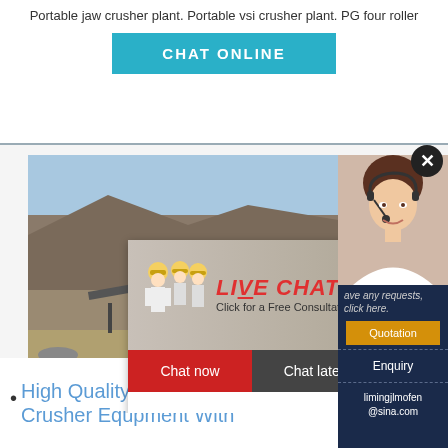Portable jaw crusher plant. Portable vsi crusher plant. PG four roller
[Figure (screenshot): CHAT ONLINE button in teal/cyan color]
[Figure (photo): Construction site with machinery and landscape background. Live chat popup overlay with workers in yellow hard hats, text 'LIVE CHAT - Click for a Free Consultation', Chat now (red) and Chat later (dark) buttons. Right sidebar with customer service agent photo, Quotation button, Enquiry link, and email limingjlmofen@sina.com]
High Quality Mineral Processing Crusher Equpment With